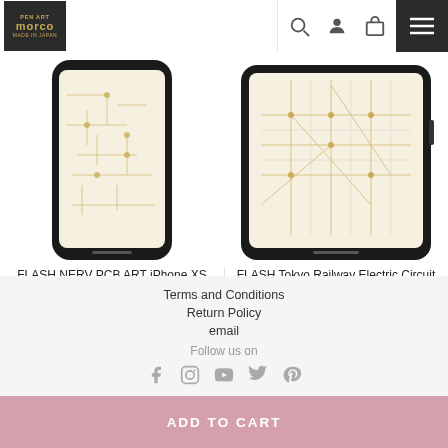PEN ART MORCO MADE IN JAPAN
[Figure (photo): FLASH NERV PCB ART iPhone XS MAX case (White) - phone case with circuit board art design in gold on white, shown on dark phone case]
FLASH NERV PCB ART iPhone XS MAX case ( White )
HK$1,250.00
[Figure (photo): FLASH Tokyo Railway Electric Circuit iPhoneXS MAX case - phone case with Tokyo railway map in beige/gold tones, shown on dark phone case]
FLASH Tokyo Railway Electric Circuit iPhoneXS MAX case (...
HK$1,100.00
Terms and Conditions
Return Policy
email
Follow us on
ADD TO CART